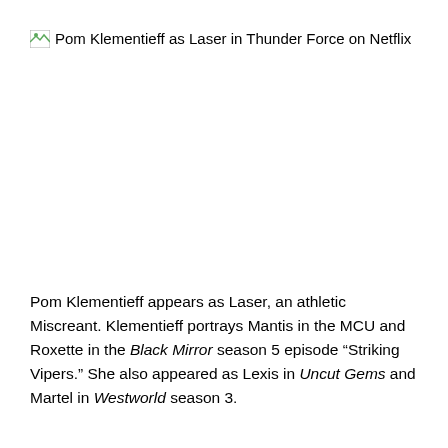Pom Klementieff as Laser in Thunder Force on Netflix
[Figure (photo): Broken image placeholder for Pom Klementieff as Laser in Thunder Force on Netflix]
Pom Klementieff appears as Laser, an athletic Miscreant. Klementieff portrays Mantis in the MCU and Roxette in the Black Mirror season 5 episode “Striking Vipers.” She also appeared as Lexis in Uncut Gems and Martel in Westworld season 3.